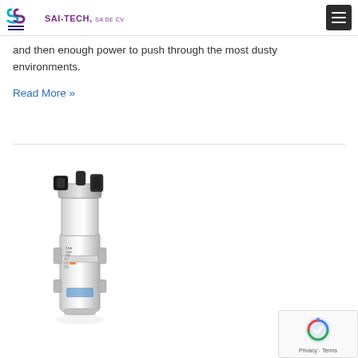SAI-TECH, SA DE CV
and then enough power to push through the most dusty environments.
Read More »
[Figure (photo): Industrial metallic cylindrical component or sensor device, chrome/stainless steel finish, with multiple ports and fittings at the top.]